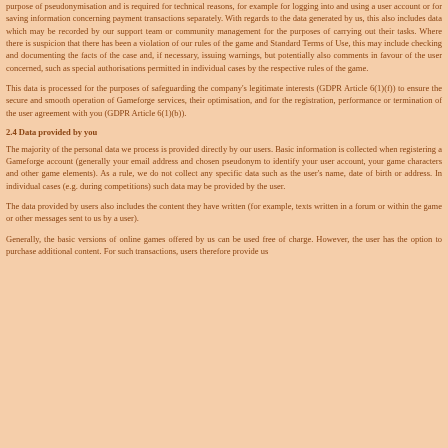purpose of pseudonymisation and is required for technical reasons, for example for logging into and using a user account or for saving information concerning payment transactions separately. With regards to the data generated by us, this also includes data which may be recorded by our support team or community management for the purposes of carrying out their tasks. Where there is suspicion that there has been a violation of our rules of the game and Standard Terms of Use, this may include checking and documenting the facts of the case and, if necessary, issuing warnings, but potentially also comments in favour of the user concerned, such as special authorisations permitted in individual cases by the respective rules of the game.
This data is processed for the purposes of safeguarding the company's legitimate interests (GDPR Article 6(1)(f)) to ensure the secure and smooth operation of Gameforge services, their optimisation, and for the registration, performance or termination of the user agreement with you (GDPR Article 6(1)(b)).
2.4 Data provided by you
The majority of the personal data we process is provided directly by our users. Basic information is collected when registering a Gameforge account (generally your email address and chosen pseudonym to identify your user account, your game characters and other game elements). As a rule, we do not collect any specific data such as the user's name, date of birth or address. In individual cases (e.g. during competitions) such data may be provided by the user.
The data provided by users also includes the content they have written (for example, texts written in a forum or within the game or other messages sent to us by a user).
Generally, the basic versions of online games offered by us can be used free of charge. However, the user has the option to purchase additional content. For such transactions, users therefore provide us